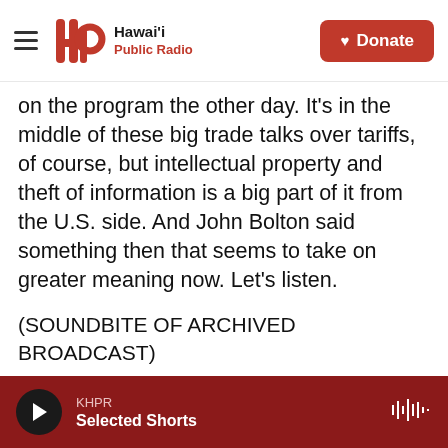Hawai'i Public Radio — Donate
on the program the other day. It's in the middle of these big trade talks over tariffs, of course, but intellectual property and theft of information is a big part of it from the U.S. side. And John Bolton said something then that seems to take on greater meaning now. Let's listen.
(SOUNDBITE OF ARCHIVED BROADCAST)
JOHN BOLTON: As I say, as the negotiations proceed, I think we're going to see a lot about what Chinese companies have done to steal intellectual property, to hack into the computer systems not just of the U.S. government, although they've done
KHPR — Selected Shorts